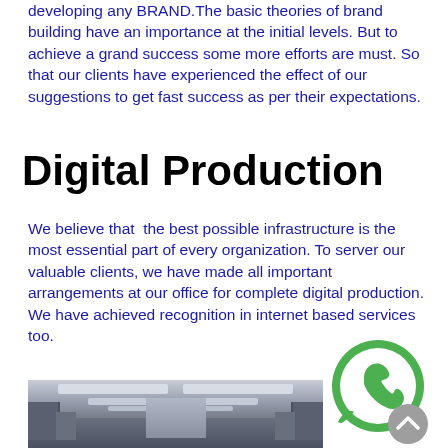developing any BRAND.The basic theories of brand building have an importance at the initial levels. But to achieve a grand success some more efforts are must. So that our clients have experienced the effect of our suggestions to get fast success as per their expectations.
Digital Production
We believe that  the best possible infrastructure is the most essential part of every organization. To server our valuable clients, we have made all important arrangements at our office for complete digital production. We have achieved recognition in internet based services too.
[Figure (photo): Interior of an office corridor with fluorescent ceiling lights and cubicle partitions, viewed from the end of a long hallway.]
[Figure (logo): WhatsApp logo — green speech bubble with a white telephone handset icon, with a grey scroll-to-top button overlapping the bottom-right corner.]